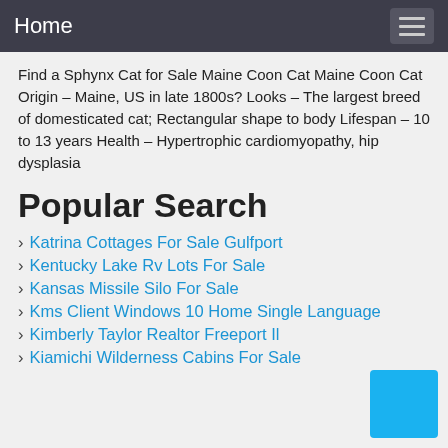Home
Find a Sphynx Cat for Sale Maine Coon Cat Maine Coon Cat Origin – Maine, US in late 1800s? Looks – The largest breed of domesticated cat; Rectangular shape to body Lifespan – 10 to 13 years Health – Hypertrophic cardiomyopathy, hip dysplasia
Popular Search
Katrina Cottages For Sale Gulfport
Kentucky Lake Rv Lots For Sale
Kansas Missile Silo For Sale
Kms Client Windows 10 Home Single Language
Kimberly Taylor Realtor Freeport Il
Kiamichi Wilderness Cabins For Sale